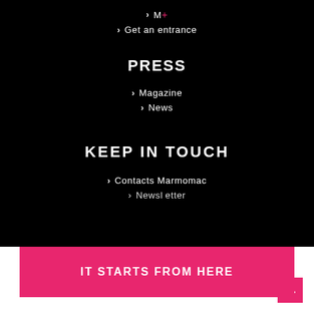M+
Get an entrance
PRESS
Magazine
News
KEEP IN TOUCH
Contacts Marmomac
Newsletter
IT STARTS FROM HERE